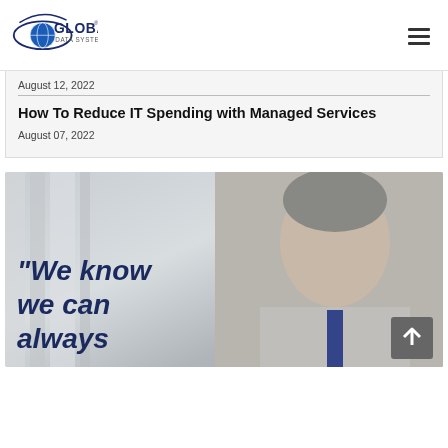[Figure (logo): Global Data Systems logo — globe icon with 'GLOBAL' text and 'DATA SYSTEMS' subtitle]
August 12, 2022
How To Reduce IT Spending with Managed Services
August 07, 2022
[Figure (photo): Photo of a middle-aged man with grey curly hair and beard in a suit, with overlaid italic quote text: "We know we can always"]